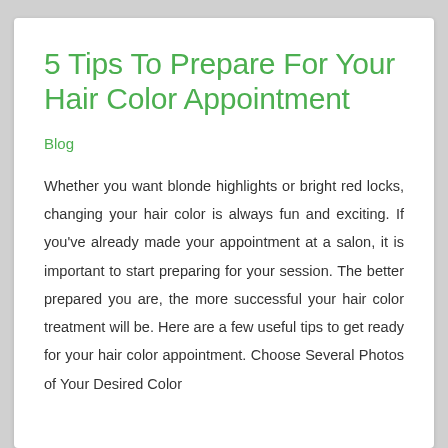5 Tips To Prepare For Your Hair Color Appointment
Blog
Whether you want blonde highlights or bright red locks, changing your hair color is always fun and exciting. If you've already made your appointment at a salon, it is important to start preparing for your session. The better prepared you are, the more successful your hair color treatment will be. Here are a few useful tips to get ready for your hair color appointment. Choose Several Photos of Your Desired Color